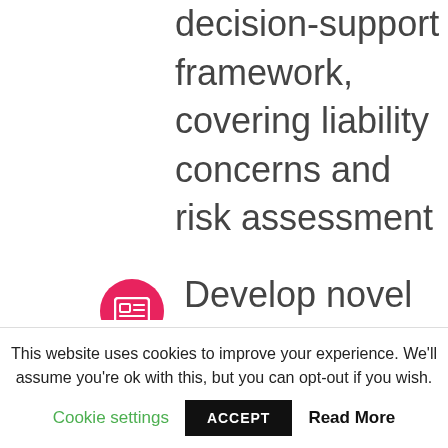automated decision-support framework, covering liability concerns and risk assessment
Develop novel Driver Training Curricula for
This website uses cookies to improve your experience. We'll assume you're ok with this, but you can opt-out if you wish.
Cookie settings   ACCEPT   Read More